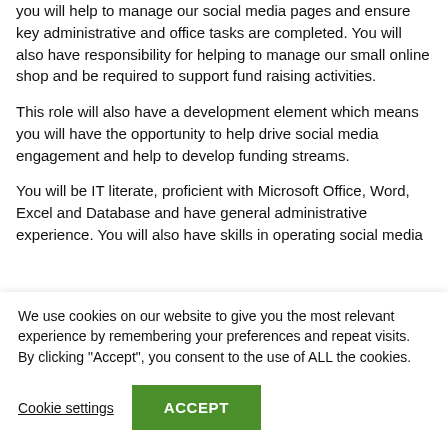you will help to manage our social media pages and ensure key administrative and office tasks are completed. You will also have responsibility for helping to manage our small online shop and be required to support fund raising activities.
This role will also have a development element which means you will have the opportunity to help drive social media engagement and help to develop funding streams.
You will be IT literate, proficient with Microsoft Office, Word, Excel and Database and have general administrative experience. You will also have skills in operating social media
We use cookies on our website to give you the most relevant experience by remembering your preferences and repeat visits. By clicking "Accept", you consent to the use of ALL the cookies.
Cookie settings
ACCEPT